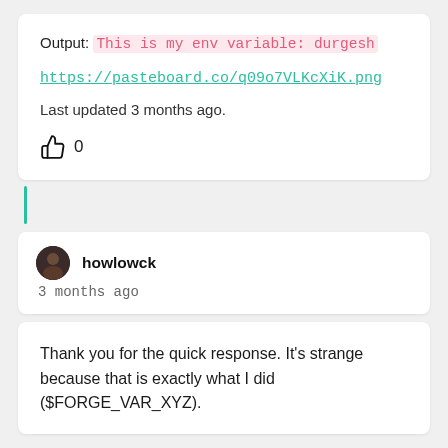Output: This is my env variable: durgesh
https://pasteboard.co/q09o7VLKcXiK.png
Last updated 3 months ago.
0
howlowck
3 months ago
Thank you for the quick response. It's strange because that is exactly what I did ($FORGE_VAR_XYZ).